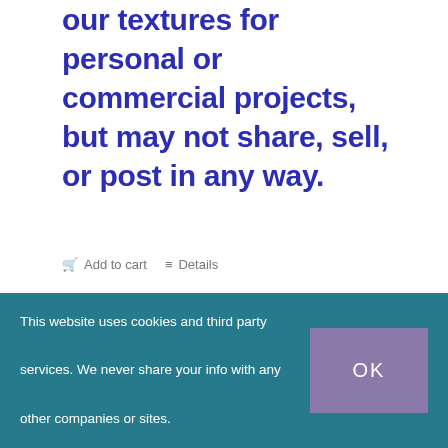our textures for personal or commercial projects, but may not share, sell, or post in any way.
Add to cart   Details
[Figure (illustration): Product thumbnail showing bird silhouettes on a grid background with a teal label strip]
Brushes — Birds 2
$15.00
This website uses cookies and third party services. We never share your info with any other companies or sites.